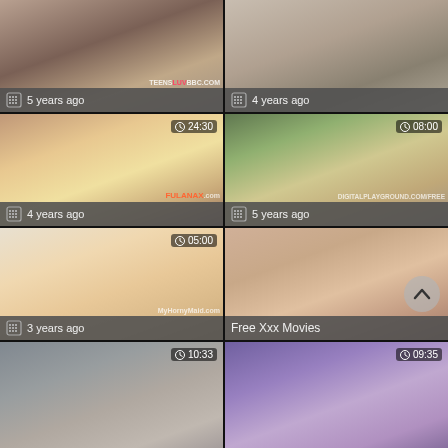[Figure (screenshot): Video thumbnail grid cell 1 - adult video thumbnail, watermark TEENSLUV BBC.COM]
5 years ago
[Figure (screenshot): Video thumbnail grid cell 2 - adult video thumbnail]
4 years ago
[Figure (screenshot): Video thumbnail grid cell 3 - adult video thumbnail, duration 24:30, watermark FULANAX.com]
4 years ago
[Figure (screenshot): Video thumbnail grid cell 4 - adult video thumbnail, duration 08:00, watermark DIGITALPLAYGROUND.COM/FREE]
5 years ago
[Figure (screenshot): Video thumbnail grid cell 5 - adult video thumbnail, duration 05:00, watermark MyHornyMaid.com]
3 years ago
[Figure (screenshot): Video thumbnail grid cell 6 - adult video thumbnail, label Free Xxx Movies]
Free Xxx Movies
[Figure (screenshot): Video thumbnail grid cell 7 - adult video thumbnail, duration 10:33]
[Figure (screenshot): Video thumbnail grid cell 8 - adult video thumbnail, duration 09:35]